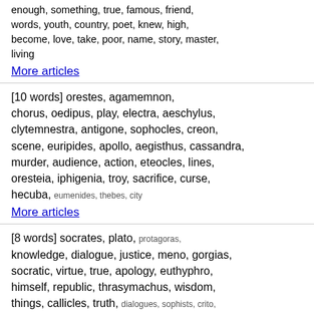enough, something, true, famous, friend, words, youth, country, poet, knew, high, become, love, take, poor, name, story, master, living
More articles
[10 words] orestes, agamemnon, chorus, oedipus, play, electra, aeschylus, clytemnestra, antigone, sophocles, creon, scene, euripides, apollo, aegisthus, cassandra, murder, audience, action, eteocles, lines, oresteia, iphigenia, troy, sacrifice, curse, hecuba, eumenides, thebes, city
More articles
[8 words] socrates, plato, protagoras, knowledge, dialogue, justice, meno, gorgias, socratic, virtue, true, apology, euthyphro, himself, republic, thrasymachus, wisdom, things, callicles, truth, dialogues, sophists, crito, definition, vlastos, claim, irony, laws, xenophon, hippias
More articles
[7 words] galen, body, blood, medical, heart,